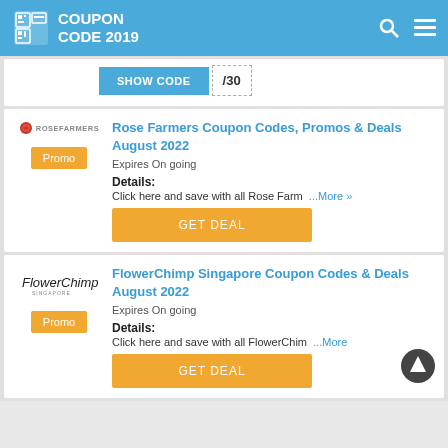COUPON CODE 2019
SHOW CODE /30
Rose Farmers Coupon Codes, Promos & Deals August 2022
Expires On going
Details: Click here and save with all Rose Farm …More »
GET DEAL
FlowerChimp Singapore Coupon Codes & Deals August 2022
Expires On going
Details: Click here and save with all FlowerChim …More
GET DEAL